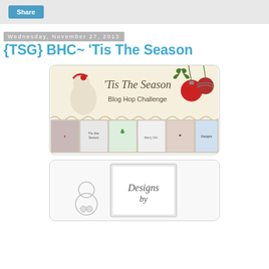Share
Wednesday, November 27, 2013
{TSG} BHC~ 'Tis The Season
[Figure (illustration): Blog Hop Challenge banner reading 'Tis The Season Blog Hop Challenge with Santa Claus, Christmas ornaments, and a strip of Christmas card thumbnails below.]
[Figure (illustration): Partial view of a crafting card or stamp set labeled 'Designs by' with sketched snowman figures.]